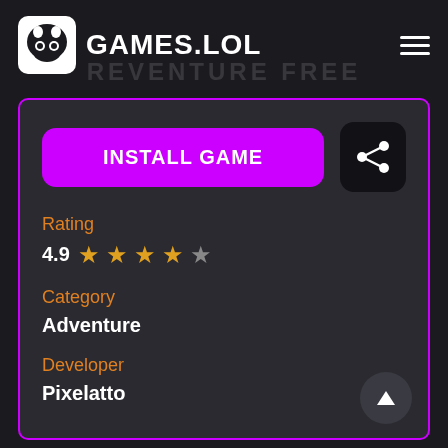GAMES.LOL
REVENTURE FREE
INSTALL GAME
Rating
4.9 ★★★★☆
Category
Adventure
Developer
Pixelatto